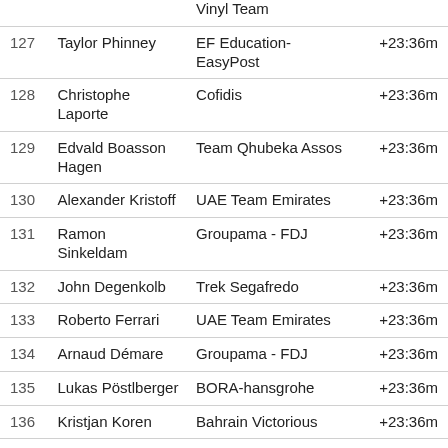| # | Name | Team | Time |
| --- | --- | --- | --- |
|  |  | Vinyl Team |  |
| 127 | Taylor Phinney | EF Education-EasyPost | +23:36m |
| 128 | Christophe Laporte | Cofidis | +23:36m |
| 129 | Edvald Boasson Hagen | Team Qhubeka Assos | +23:36m |
| 130 | Alexander Kristoff | UAE Team Emirates | +23:36m |
| 131 | Ramon Sinkeldam | Groupama - FDJ | +23:36m |
| 132 | John Degenkolb | Trek Segafredo | +23:36m |
| 133 | Roberto Ferrari | UAE Team Emirates | +23:36m |
| 134 | Arnaud Démare | Groupama - FDJ | +23:36m |
| 135 | Lukas Pöstlberger | BORA-hansgrohe | +23:36m |
| 136 | Kristjan Koren | Bahrain Victorious | +23:36m |
| 137 | Damien Gaudin | TotalEnergies | +23:36m |